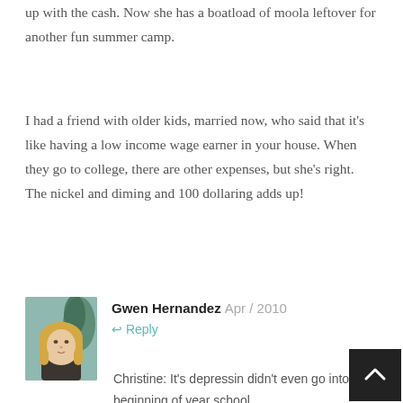up with the cash. Now she has a boatload of moola leftover for another fun summer camp.
I had a friend with older kids, married now, who said that it's like having a low income wage earner in your house. When they go to college, there are other expenses, but she's right. The nickel and diming and 100 dollaring adds up!
Gwen Hernandez
Apr / 2010
Reply
[Figure (photo): Profile photo of Gwen Hernandez, a woman with long blonde hair, against a teal/green background]
Christine: It's depressin didn't even go into the beginning of year school